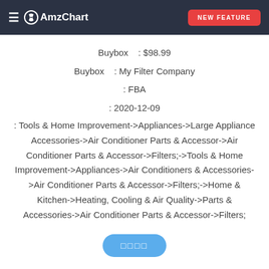AmzChart | NEW FEATURE
Buybox : $98.99
Buybox : My Filter Company
: FBA
: 2020-12-09
: Tools & Home Improvement->Appliances->Large Appliance Accessories->Air Conditioner Parts & Accessor->Air Conditioner Parts & Accessor->Filters;->Tools & Home Improvement->Appliances->Air Conditioners & Accessories->Air Conditioner Parts & Accessor->Filters;->Home & Kitchen->Heating, Cooling & Air Quality->Parts & Accessories->Air Conditioner Parts & Accessor->Filters;
□□□□